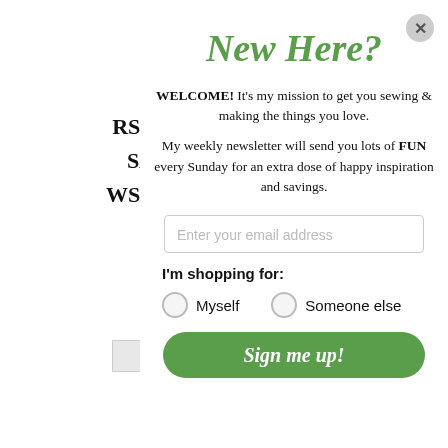New Here?
WELCOME! It's my mission to get you sewing & making the things you love.
My weekly newsletter will send you lots of FUN every Sunday for an extra dose of happy inspiration and savings.
Enter your email address
I'm shopping for:
Myself
Someone else
Sign me up!